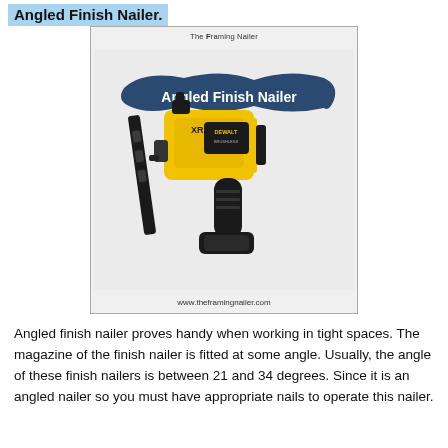Angled Finish Nailer.
[Figure (photo): Photo of a yellow and black DeWalt XR angled finish nailer tool, shown against a light gray background. The image is framed with a border, has 'The Framing Nailer' as a header and 'Angled Finish Nailer' text on a dark blue banner. URL www.theframingnailer.com shown at bottom.]
Angled finish nailer proves handy when working in tight spaces. The magazine of the finish nailer is fitted at some angle. Usually, the angle of these finish nailers is between 21 and 34 degrees. Since it is an angled nailer so you must have appropriate nails to operate this nailer.